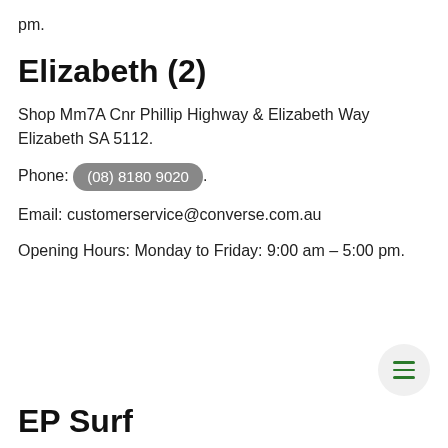pm.
Elizabeth (2)
Shop Mm7A Cnr Phillip Highway & Elizabeth Way Elizabeth SA 5112.
Phone: (08) 8180 9020.
Email: customerservice@converse.com.au
Opening Hours: Monday to Friday: 9:00 am – 5:00 pm.
EP Surf